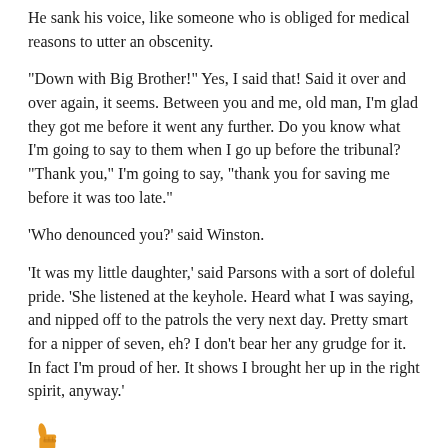He sank his voice, like someone who is obliged for medical reasons to utter an obscenity.
"Down with Big Brother!" Yes, I said that! Said it over and over again, it seems. Between you and me, old man, I'm glad they got me before it went any further. Do you know what I'm going to say to them when I go up before the tribunal? "Thank you," I'm going to say, "thank you for saving me before it was too late."
'Who denounced you?' said Winston.
'It was my little daughter,' said Parsons with a sort of doleful pride. 'She listened at the keyhole. Heard what I was saying, and nipped off to the patrols the very next day. Pretty smart for a nipper of seven, eh? I don't bear her any grudge for it. In fact I'm proud of her. It shows I brought her up in the right spirit, anyway.'
[Figure (illustration): Orange thumbs-up emoji icon]
Voting